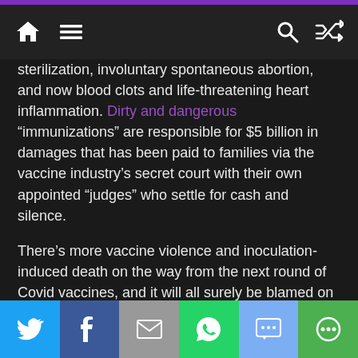Navigation bar with home, menu, search, and shuffle icons
sterilization, involuntary spontaneous abortion, and now blood clots and life-threatening heart inflammation. Dirty and dangerous “immunizations” are responsible for $5 billion in damages that has been paid to families via the vaccine industry’s secret court with their own appointed “judges” who settle for cash and silence.
There’s more vaccine violence and inoculation-induced death on the way from the next round of Covid vaccines, and it will all surely be blamed on the lab-concocted “Delta Variant.”
It’s time to stock up, for real, on medicinal mushrooms, including chaga and reishi (natural immune system boosters). It’s time to load the herbal remedy shelf in
Social share buttons: Twitter, Facebook, Email, WhatsApp, SMS, More